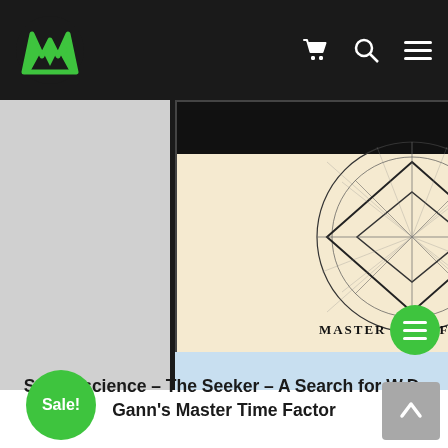[Figure (screenshot): Website navigation bar with green logo on left and cart, search, menu icons on right against dark background]
[Figure (photo): Book cover showing 'Master Time Factor' with geometric diagram on beige/cream background, light blue bottom section, dark right spine with green text]
Sacredscience – The Seeker – A Search for W.D. Gann's Master Time Factor
[Figure (other): Green circular table of contents button with three white lines]
Sale!
[Figure (other): Grey scroll to top button with white upward arrow]